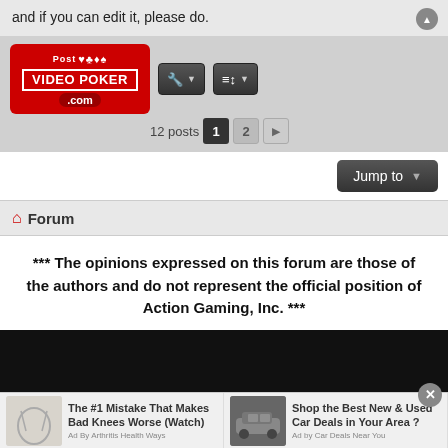and if you can edit it, please do.
[Figure (logo): Post Video Poker .com logo in red with card suit symbols]
12 posts   1   2
Jump to
🏠 Forum
*** The opinions expressed on this forum are those of the authors and do not represent the official position of Action Gaming, Inc. ***
[Figure (screenshot): Dark video embed area]
[Figure (screenshot): Advertisement bar with knee health ad and car deals ad]
This site uses cookies for personalized content and analytics. By continuing to use this site, you agree to this use.
Close